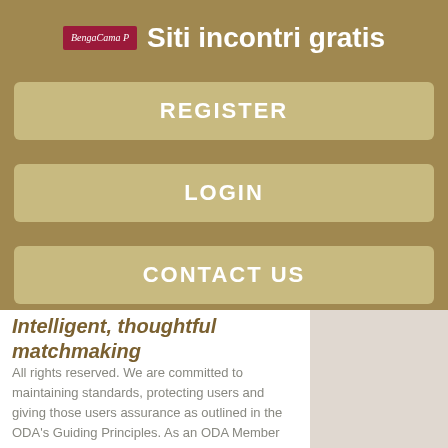Siti incontri gratis
REGISTER
LOGIN
CONTACT US
Intelligent, thoughtful matchmaking
All rights reserved. We are committed to maintaining standards, protecting users and giving those users assurance as outlined in the ODA's Guiding Principles. As an ODA Member we